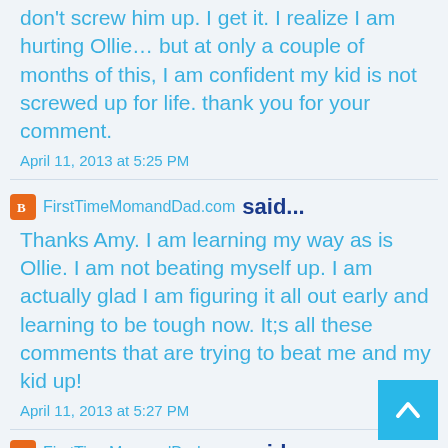don't screw him up. I get it. I realize I am hurting Ollie… but at only a couple of months of this, I am confident my kid is not screwed up for life. thank you for your comment.
April 11, 2013 at 5:25 PM
FirstTimeMomandDad.com said...
Thanks Amy. I am learning my way as is Ollie. I am not beating myself up. I am actually glad I am figuring it all out early and learning to be tough now. It;s all these comments that are trying to beat me and my kid up!
April 11, 2013 at 5:27 PM
FirstTimeMomandDad.com said...